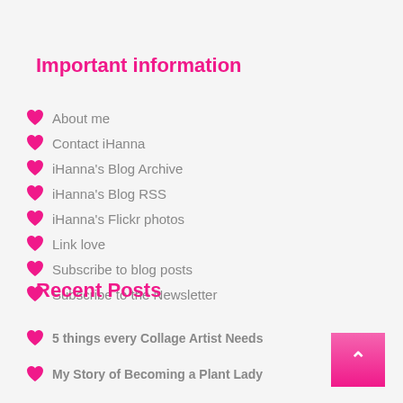Important information
About me
Contact iHanna
iHanna's Blog Archive
iHanna's Blog RSS
iHanna's Flickr photos
Link love
Subscribe to blog posts
Subscribe to the Newsletter
Recent Posts
5 things every Collage Artist Needs
My Story of Becoming a Plant Lady